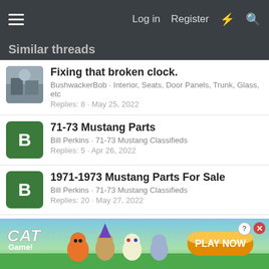Log in  Register
Similar threads
Fixing that broken clock.
BushwackerBob · Interior, Seats, Door Panels, Trunk, Glass, etc
Replies: 8 · May 25, 2022
71-73 Mustang Parts
Bill Perkins · 71-73 Mustang Classifieds
Replies: 5 · Apr 26, 2022
1971-1973 Mustang Parts For Sale
Bill Perkins · 71-73 Mustang Classifieds
Replies: 20 · May 27, 2022
71-73 Mustang Parts for Sale
Bill Perkins · 71-73 Mustang Classifieds
Replies: 10 · Apr 26, 2022
[Figure (screenshot): Cat Game advertisement banner with animated cat characters and PLAY NOW button]